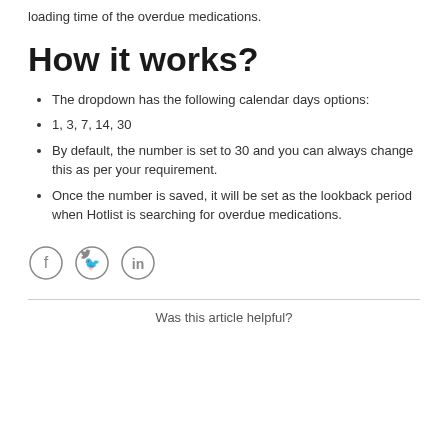loading time of the overdue medications.
How it works?
The dropdown has the following calendar days options:
1, 3, 7, 14, 30
By default, the number is set to 30 and you can always change this as per your requirement.
Once the number is saved, it will be set as the lookback period when Hotlist is searching for overdue medications.
[Figure (illustration): Social media share icons: Facebook, Twitter, LinkedIn in circle outlines]
Was this article helpful?